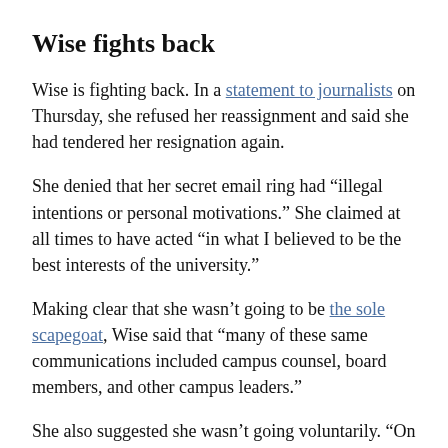Wise fights back
Wise is fighting back. In a statement to journalists on Thursday, she refused her reassignment and said she had tendered her resignation again.
She denied that her secret email ring had “illegal intentions or personal motivations.” She claimed at all times to have acted “in what I believed to be the best interests of the university.”
Making clear that she wasn’t going to be the sole scapegoat, Wise said that “many of these same communications included campus counsel, board members, and other campus leaders.”
She also suggested she wasn’t going voluntarily. “On Tuesday,” she said, “I acceded to the board’s and the president’s request that I tender my resignation. In return, the university agreed to provide the compensation and benefits to